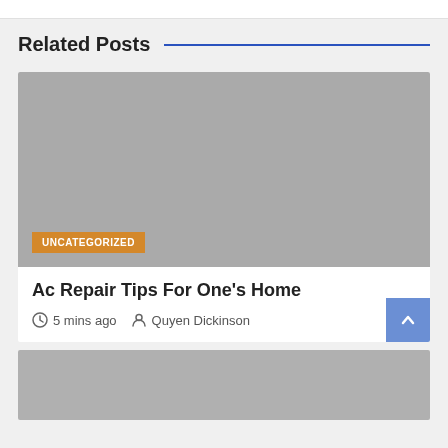Related Posts
[Figure (photo): Gray placeholder image with orange UNCATEGORIZED badge at bottom left]
Ac Repair Tips For One's Home
5 mins ago   Quyen Dickinson
[Figure (photo): Gray placeholder image for second related post]